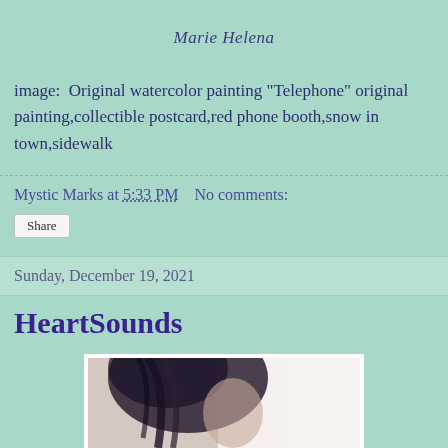Marie Helena
image:  Original watercolor painting "Telephone" original painting,collectible postcard,red phone booth,snow in town,sidewalk
Mystic Marks at 5:33 PM   No comments:
Share
Sunday, December 19, 2021
HeartSounds
[Figure (photo): Partial view of a person's face/head with dark hair in a braid, cropped, white background]